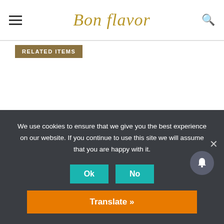Bon Flavor
RELATED ITEMS
CLICK TO ADD A COMMENT
MORE IN PIES
[Figure (photo): A green creamy pie in a crust with mint leaves, photographed from above on a stone surface with lemon slices]
We use cookies to ensure that we give you the best experience on our website. If you continue to use this site we will assume that you are happy with it.
Ok
No
Translate »